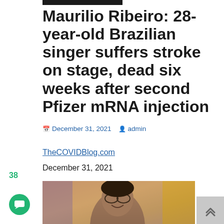Maurilio Ribeiro: 28-year-old Brazilian singer suffers stroke on stage, dead six weeks after second Pfizer mRNA injection
December 31, 2021  admin
TheCOVIDBlog.com
December 31, 2021
[Figure (photo): Photo of a young smiling man with glasses and dark hair, wearing casual clothing, against a colorful blurred background.]